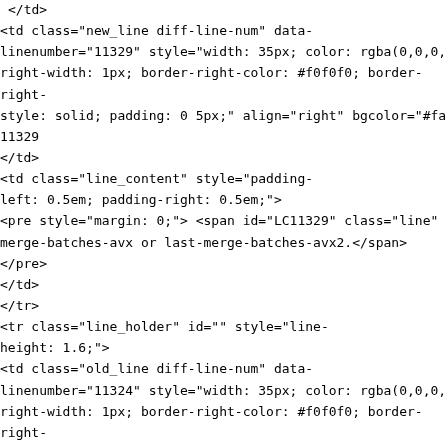</td>
<td class="new_line diff-line-num" data-linenumber="11329" style="width: 35px; color: rgba(0,0,0, right-width: 1px; border-right-color: #f0f0f0; border-right-style: solid; padding: 0 5px;" align="right" bgcolor="#fa 11329
</td>
<td class="line_content" style="padding-left: 0.5em; padding-right: 0.5em;">
<pre style="margin: 0;"> <span id="LC11329" class="line" merge-batches-avx or last-merge-batches-avx2.</span>
</pre>
</td>
</tr>
<tr class="line_holder" id="" style="line-height: 1.6;">
<td class="old_line diff-line-num" data-linenumber="11324" style="width: 35px; color: rgba(0,0,0, right-width: 1px; border-right-color: #f0f0f0; border-right-style: solid; padding: 0 5px;" align="right" bgcolor="#fa 11324
</td>
<td class="new_line diff-line-num" data-linenumber="11330" style="width: 35px; color: rgba(0,0,0, right-width: 1px; border-right-color: #f0f0f0; border-right-style: solid; padding: 0 5px;" align="right" bgcolor="#fa 11330